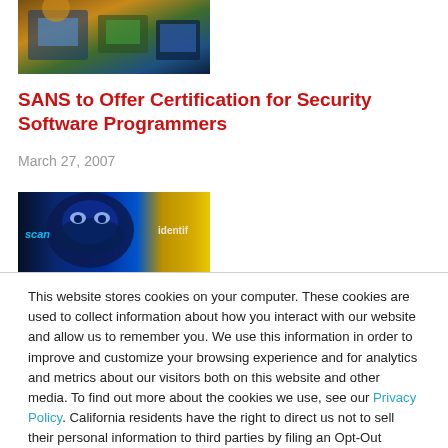[Figure (photo): Top banner image showing people with laptops, warm tones, dark background]
SANS to Offer Certification for Security Software Programmers
March 27, 2007
[Figure (photo): Security-themed banner image with blue gorilla face, scan/identify text overlay, dark blue and gold gradient]
This website stores cookies on your computer. These cookies are used to collect information about how you interact with our website and allow us to remember you. We use this information in order to improve and customize your browsing experience and for analytics and metrics about our visitors both on this website and other media. To find out more about the cookies we use, see our Privacy Policy. California residents have the right to direct us not to sell their personal information to third parties by filing an Opt-Out Request: Do Not Sell My Personal Info.